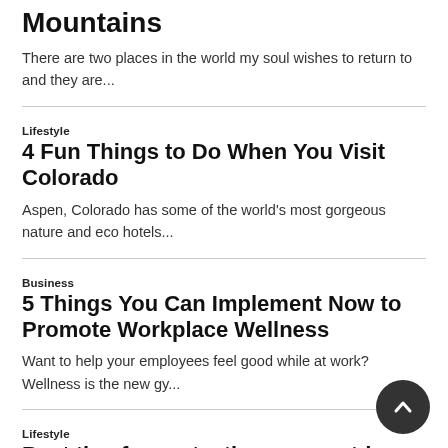Eco trekking through Morocco's Atlas Mountains
There are two places in the world my soul wishes to return to and they are...
Lifestyle
4 Fun Things to Do When You Visit Colorado
Aspen, Colorado has some of the world's most gorgeous nature and eco hotels...
Business
5 Things You Can Implement Now to Promote Workplace Wellness
Want to help your employees feel good while at work? Wellness is the new gy...
Lifestyle
Best tips for protecting your outdoor p…
Is it more ecological to buy sustainably harvested bamboo that lasts 3